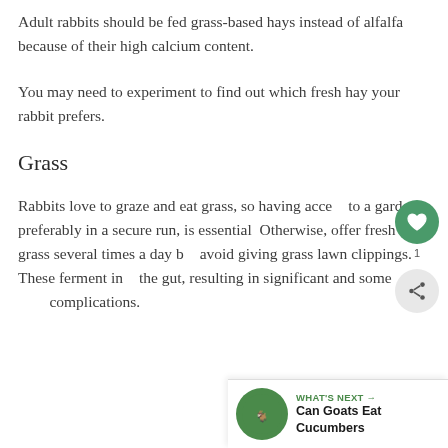Adult rabbits should be fed grass-based hays instead of alfalfa because of their high calcium content.
You may need to experiment to find out which fresh hay your rabbit prefers.
Grass
Rabbits love to graze and eat grass, so having access to a garden, preferably in a secure run, is essential. Otherwise, offer fresh grass several times a day but avoid giving grass lawn clippings. These ferment in the gut, resulting in significant and sometimes fatal complications.